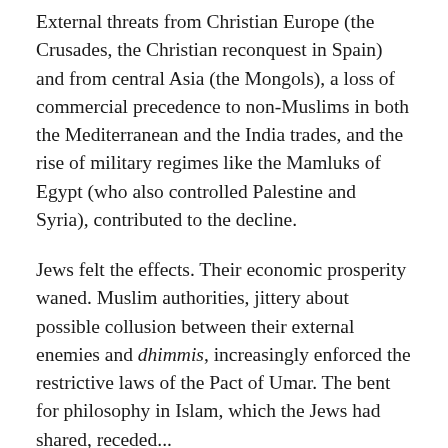External threats from Christian Europe (the Crusades, the Christian reconquest in Spain) and from central Asia (the Mongols), a loss of commercial precedence to non-Muslims in both the Mediterranean and the India trades, and the rise of military regimes like the Mamluks of Egypt (who also controlled Palestine and Syria), contributed to the decline.
Jews felt the effects. Their economic prosperity waned. Muslim authorities, jittery about possible collusion between their external enemies and dhimmis, increasingly enforced the restrictive laws of the Pact of Umar. The bent for philosophy in Islam, which the Jews had shared, receded...
The most difficult places for Jews in the late Middle Ages were two: Iran, where the establishment of Shi'ism as